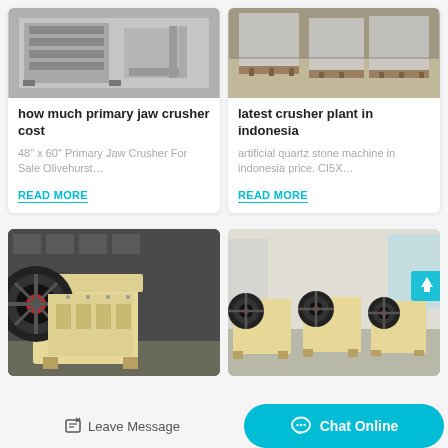[Figure (photo): Industrial jaw crusher equipment photo - grey metal machinery on factory floor]
how much primary jaw crusher cost
48” x 60” Primary Jaw Crusher For Sale Olivehurst…
READ MORE
[Figure (photo): Crusher plant equipment packaged on wooden pallets in industrial warehouse]
latest crusher plant in indonesia
artificial quartz stone machine in indonesia price. CI5X…
READ MORE
[Figure (photo): Yellow jaw crusher machine with red and black flywheel in factory]
[Figure (photo): Multiple yellow jaw crusher machines lined up in industrial facility]
Leave Message
Chat Online